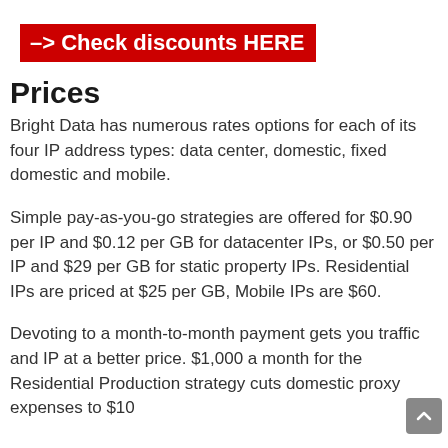-> Check discounts HERE
Prices
Bright Data has numerous rates options for each of its four IP address types: data center, domestic, fixed domestic and mobile.
Simple pay-as-you-go strategies are offered for $0.90 per IP and $0.12 per GB for datacenter IPs, or $0.50 per IP and $29 per GB for static property IPs. Residential IPs are priced at $25 per GB, Mobile IPs are $60.
Devoting to a month-to-month payment gets you traffic and IP at a better price. $1,000 a month for the Residential Production strategy cuts domestic proxy expenses to $10